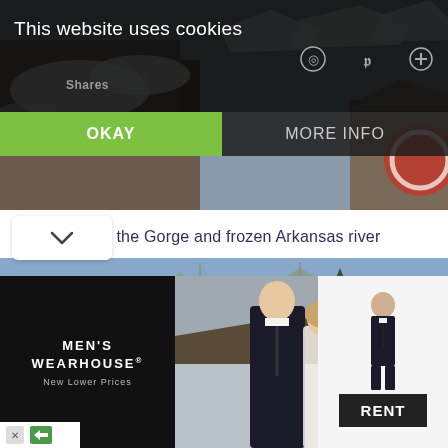[Figure (screenshot): Website cookie consent overlay with dark semi-transparent background showing 'This website uses cookies' message, OKAY button in green, and MORE INFO button in dark gray. Social sharing icons visible in top right. Shares label visible.]
[Figure (photo): Top portion of a snowy gorge and frozen Arkansas river, rocky cliffs with snow, partial view of a circular red sign]
That's the Gorge and frozen Arkansas river
[Figure (photo): View of a dramatic canyon gorge with mountains in background, a suspension bridge visible, rocky cliffs and dirt path along the rim, clear blue sky]
[Figure (photo): Men's Wearhouse advertisement banner: dark left panel with brand name and 'New Lower Prices' tagline, center photo of couple in formal wear, right panel with man in tuxedo and RENT button]